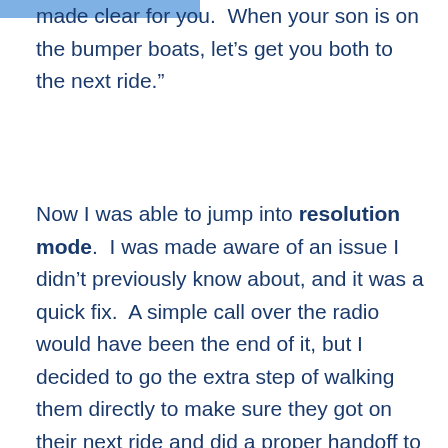made clear for you.  When your son is on the bumper boats, let's get you both to the next ride."
Now I was able to jump into resolution mode.  I was made aware of an issue I didn't previously know about, and it was a quick fix.  A simple call over the radio would have been the end of it, but I decided to go the extra step of walking them directly to make sure they got on their next ride and did a proper handoff to the ride operator.  The mom and her son were happy, and she thanked me for prodding a little bit more than I needed to, saying that she was